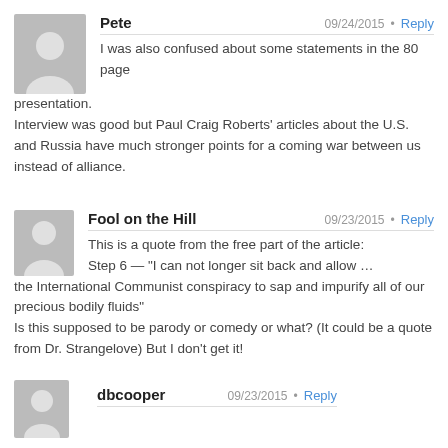Pete — 09/24/2015 · Reply
I was also confused about some statements in the 80 page presentation.
Interview was good but Paul Craig Roberts' articles about the U.S. and Russia have much stronger points for a coming war between us instead of alliance.
Fool on the Hill — 09/23/2015 · Reply
This is a quote from the free part of the article:
Step 6 — "I can not longer sit back and allow … the International Communist conspiracy to sap and impurify all of our precious bodily fluids"
Is this supposed to be parody or comedy or what? (It could be a quote from Dr. Strangelove) But I don't get it!
dbcooper — 09/23/2015 · Reply